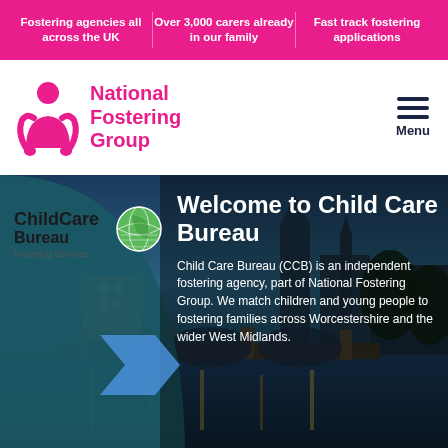Fostering agencies all across the UK | Over 3,000 carers already in our family | Fast track fostering applications
[Figure (logo): National Fostering Group logo with pink figure icon and pink text]
[Figure (logo): ChildCare Bureau Fostering Services logo with green globe icon]
Welcome to Child Care Bureau
Child Care Bureau (CCB) is an independent fostering agency, part of National Fostering Group. We match children and young people to fostering families across Worcestershire and the wider West Midlands.